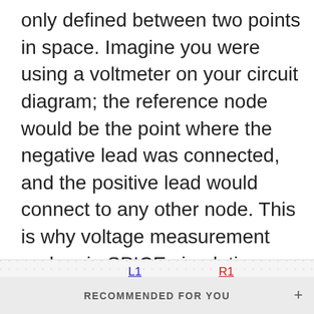only defined between two points in space. Imagine you were using a voltmeter on your circuit diagram; the reference node would be the point where the negative lead was connected, and the positive lead would connect to any other node. This is why voltage measurement probes in SPICE simulations are normally shown as a single probe; the measured voltage is taken with respect to a reference node in the circuit.
[Figure (circuit-diagram): Partial circuit diagram showing components L1 (inductor, coil symbol) and R1 (resistor, zigzag symbol) with a source symbol on the left. The diagram is shown on a dotted grid background, partially cropped.]
RECOMMENDED FOR YOU